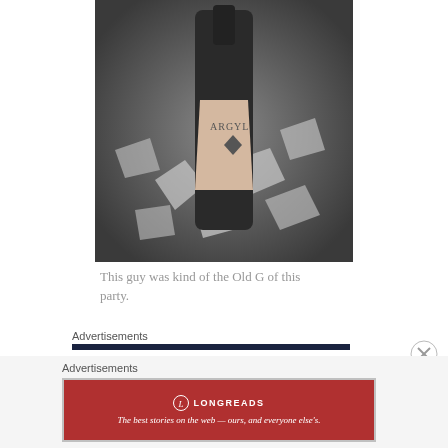[Figure (photo): Black and white photo of an Argyle wine/champagne bottle chilling in a bucket of ice cubes]
This guy was kind of the Old G of this party.
Advertisements
Advertisements
[Figure (logo): Longreads advertisement banner in red with logo circle and text: The best stories on the web — ours, and everyone else's.]